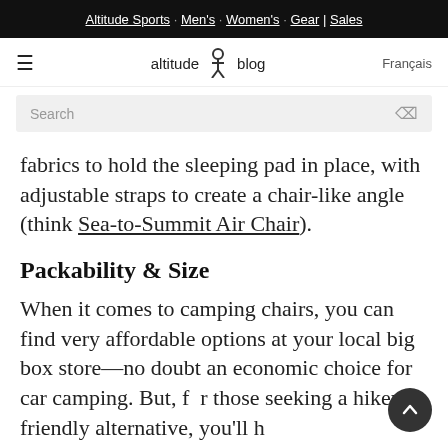Altitude Sports · Men's · Women's · Gear | Sales
altitude blog  Français
Search
fabrics to hold the sleeping pad in place, with adjustable straps to create a chair-like angle (think Sea-to-Summit Air Chair).
Packability & Size
When it comes to camping chairs, you can find very affordable options at your local big box store—no doubt an economic choice for car camping. But, for those seeking a hiker-friendly alternative, you'll h